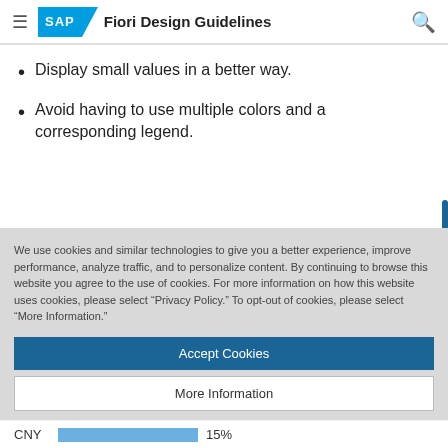SAP Fiori Design Guidelines
Display small values in a better way.
Avoid having to use multiple colors and a corresponding legend.
We use cookies and similar technologies to give you a better experience, improve performance, analyze traffic, and to personalize content. By continuing to browse this website you agree to the use of cookies. For more information on how this website uses cookies, please select “Privacy Policy.” To opt-out of cookies, please select “More Information.”
Accept Cookies
More Information
Privacy Policy | Powered by: TrustArc
CNY 15%